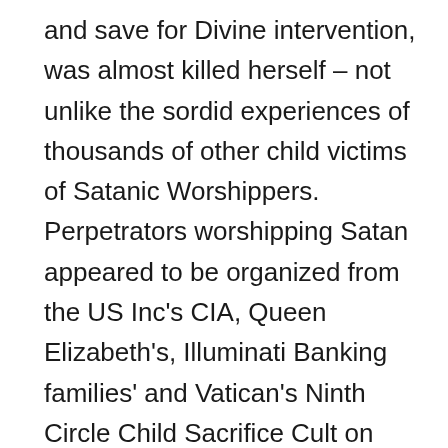and save for Divine intervention, was almost killed herself – not unlike the sordid experiences of thousands of other child victims of Satanic Worshippers. Perpetrators worshipping Satan appeared to be organized from the US Inc's CIA, Queen Elizabeth's, Illuminati Banking families' and Vatican's Ninth Circle Child Sacrifice Cult on down to the Clintons, Hollywood, Pizzagate and local teenage covens. They were funded by this same Cabal that ran our global monetary system – the very organization that was in the process of being brought down by activation of the Global Currency Reset. It's no wonder that President